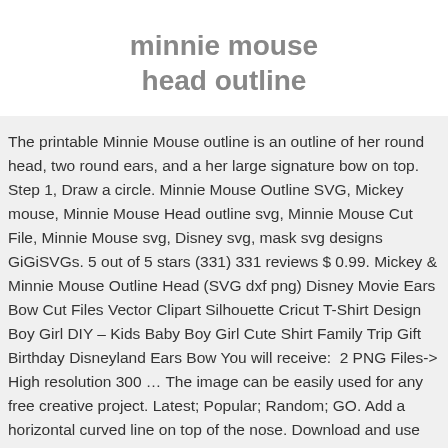minnie mouse head outline
The printable Minnie Mouse outline is an outline of her round head, two round ears, and a her large signature bow on top. Step 1, Draw a circle. Minnie Mouse Outline SVG, Mickey mouse, Minnie Mouse Head outline svg, Minnie Mouse Cut File, Minnie Mouse svg, Disney svg, mask svg designs GiGiSVGs. 5 out of 5 stars (331) 331 reviews $ 0.99. Mickey & Minnie Mouse Outline Head (SVG dxf png) Disney Movie Ears Bow Cut Files Vector Clipart Silhouette Cricut T-Shirt Design Boy Girl DIY – Kids Baby Boy Girl Cute Shirt Family Trip Gift Birthday Disneyland Ears Bow You will receive:  2 PNG Files-> High resolution 300 … The image can be easily used for any free creative project. Latest; Popular; Random; GO. Add a horizontal curved line on top of the nose. Download and use them in your website, document or presentation. Minnie Mouse Bow Silhouette. Fill in the...